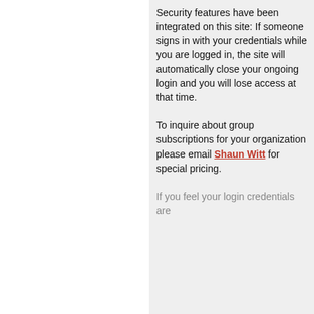Security features have been integrated on this site: If someone signs in with your credentials while you are logged in, the site will automatically close your ongoing login and you will lose access at that time.

To inquire about group subscriptions for your organization please email Shaun Witt for special pricing.

If you feel your login credentials are...
[Figure (infographic): SmartPak advertisement banner: logo on left, horse and rider image in center, '50% Off Two Months of ColiCare — ColiCare Eligible Supplements CODE: COLICARE10' text on dark blue background, 'Shop Now' button on right. Close X button top-right.]
[Figure (illustration): Accessibility icon: blue circle with white wheelchair/person icon]
We use cookies on our website to give you the most relevant experience by remembering your preferences and repeat visits. By clicking “Accept”, you consent to the use of ALL the cookies.
Cookie settings  ACCEPT